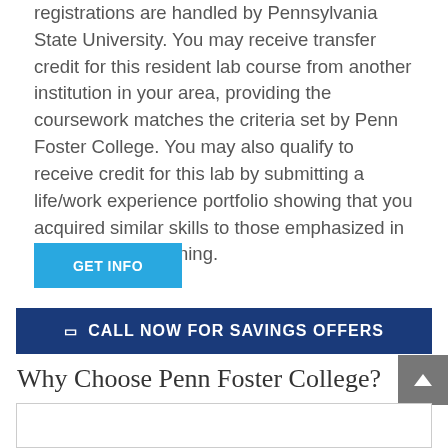registrations are handled by Pennsylvania State University. You may receive transfer credit for this resident lab course from another institution in your area, providing the coursework matches the criteria set by Penn Foster College. You may also qualify to receive credit for this lab by submitting a life/work experience portfolio showing that you acquired similar skills to those emphasized in the laboratory training.
[Figure (other): Blue 'GET INFO' call-to-action button]
[Figure (other): Dark blue banner with phone icon and text 'CALL NOW FOR SAVINGS OFFERS']
Why Choose Penn Foster College?
[Figure (other): Gray scroll-to-top button with upward chevron arrow, bottom right corner]